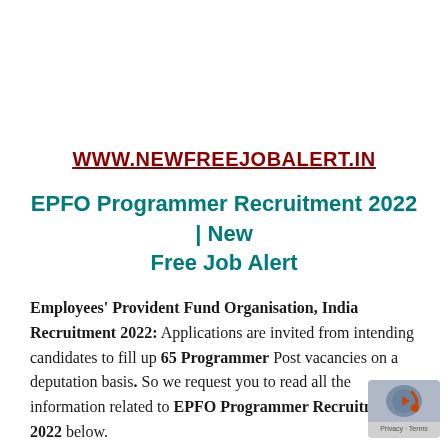WWW.NEWFREEJOBALERT.IN
EPFO Programmer Recruitment 2022 | New Free Job Alert
Employees' Provident Fund Organisation, India Recruitment 2022: Applications are invited from intending candidates to fill up 65 Programmer Post vacancies on a deputation basis. So we request you to read all the information related to EPFO Programmer Recruitment 2022 below.